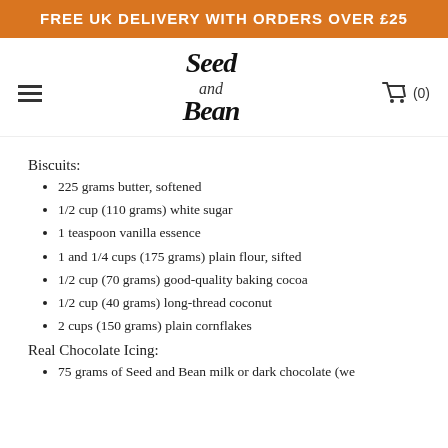FREE UK DELIVERY WITH ORDERS OVER £25
[Figure (logo): Seed and Bean logo in cursive script]
Biscuits:
225 grams butter, softened
1/2 cup (110 grams) white sugar
1 teaspoon vanilla essence
1 and 1/4 cups (175 grams) plain flour, sifted
1/2 cup (70 grams) good-quality baking cocoa
1/2 cup (40 grams) long-thread coconut
2 cups (150 grams) plain cornflakes
Real Chocolate Icing:
75 grams of Seed and Bean milk or dark chocolate (we